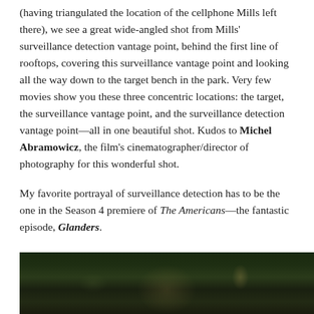(having triangulated the location of the cellphone Mills left there), we see a great wide-angled shot from Mills' surveillance detection vantage point, behind the first line of rooftops, covering this surveillance vantage point and looking all the way down to the target bench in the park. Very few movies show you these three concentric locations: the target, the surveillance vantage point, and the surveillance detection vantage point—all in one beautiful shot. Kudos to Michel Abramowicz, the film's cinematographer/director of photography for this wonderful shot.
My favorite portrayal of surveillance detection has to be the one in the Season 4 premiere of The Americans—the fantastic episode, Glanders.
[Figure (photo): Dark nighttime outdoor photo, likely a street or park scene with minimal lighting and greenery visible]